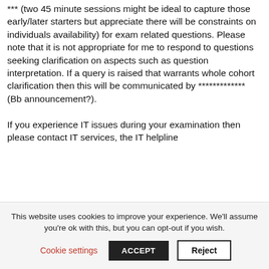*** (two 45 minute sessions might be ideal to capture those early/later starters but appreciate there will be constraints on individuals availability) for exam related questions. Please note that it is not appropriate for me to respond to questions seeking clarification on aspects such as question interpretation. If a query is raised that warrants whole cohort clarification then this will be communicated by ************* (Bb announcement?).
If you experience IT issues during your examination then please contact IT services, the IT helpline
This website uses cookies to improve your experience. We'll assume you're ok with this, but you can opt-out if you wish.